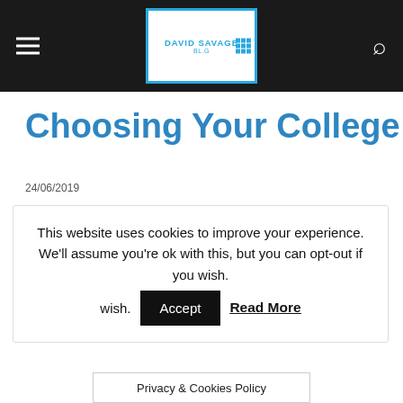David Savage Blog — navigation header with hamburger menu and search icon
Choosing Your College
24/06/2019
This website uses cookies to improve your experience. We'll assume you're ok with this, but you can opt-out if you wish. Accept  Read More
Privacy & Cookies Policy